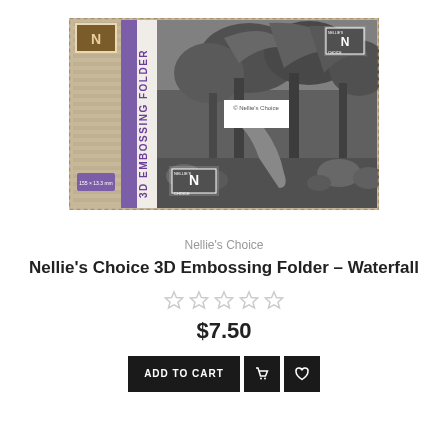[Figure (photo): Product packaging image of Nellie's Choice 3D Embossing Folder - Waterfall, showing a decorative embossing folder with a tropical waterfall/forest scene in grayscale, with a tan and purple striped packaging spine on the left side reading '3D EMBOSSING FOLDER']
Nellie's Choice
Nellie's Choice 3D Embossing Folder - Waterfall
★★★★★ (empty stars, no rating)
$7.50
ADD TO CART